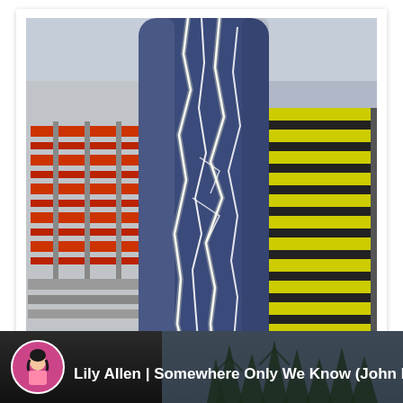[Figure (photo): Close-up photograph of a cylindrical transparent or blue-tinted tube/vessel showing bright white lightning-like electrical discharge streaks running vertically. In the background, red/orange metal grid structures are visible on the left and yellow/black striped structures on the right, against a grey sky.]
[Figure (screenshot): Video bar/thumbnail strip at the bottom of the page showing a dark background with silhouetted trees, a circular avatar of Lily Allen in pink clothing on the left, and white bold text reading 'Lily Allen | Somewhere Only We Know (John Lev...']